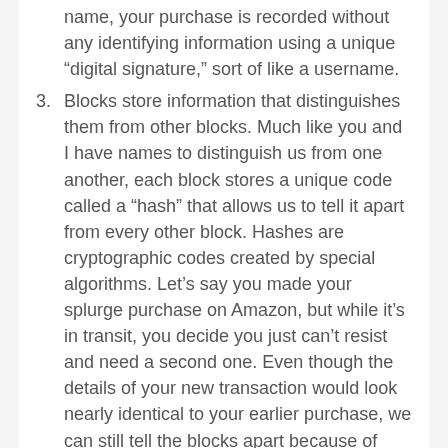name, your purchase is recorded without any identifying information using a unique “digital signature,” sort of like a username.
3. Blocks store information that distinguishes them from other blocks. Much like you and I have names to distinguish us from one another, each block stores a unique code called a “hash” that allows us to tell it apart from every other block. Hashes are cryptographic codes created by special algorithms. Let’s say you made your splurge purchase on Amazon, but while it’s in transit, you decide you just can’t resist and need a second one. Even though the details of your new transaction would look nearly identical to your earlier purchase, we can still tell the blocks apart because of their unique codes.
While the block in the example above is being used to store a single purchase from Amazon, the reality is a little different. A single block on the Bitcoin blockchain